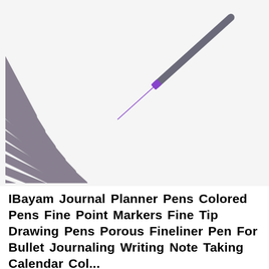[Figure (photo): A fan arrangement of multiple fine-tip colored pens/markers with gray barrels, spread diagonally from upper-right to lower-left. Each pen has a colored tip and a matching color band near the tip. Colors include purple, magenta, pink, red, dark red, beige, yellow, gold, orange, tan, brown, teal, dark teal, light blue, dark green, light teal, blue, gray, and black. The pen tips fan out showing heart-shaped colored ink drops.]
IBayam Journal Planner Pens Colored Pens Fine Point Markers Fine Tip Drawing Pens Porous Fineliner Pen For Bullet Journaling Writing Note Taking Calendar Coloring Art Office School Supplies